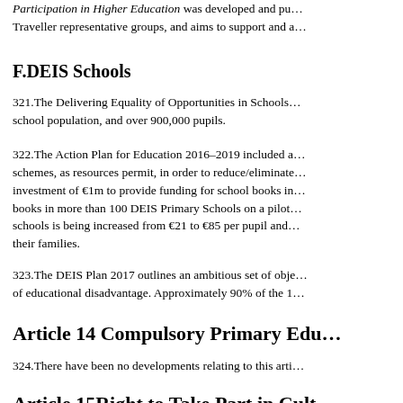Participation in Higher Education was developed and pu… Traveller representative groups, and aims to support and a…
F.DEIS Schools
321.The Delivering Equality of Opportunities in Schools… school population, and over 900,000 pupils.
322.The Action Plan for Education 2016–2019 included a… schemes, as resources permit, in order to reduce/eliminate… investment of €1m to provide funding for school books in… books in more than 100 DEIS Primary Schools on a pilot… schools is being increased from €21 to €85 per pupil and… their families.
323.The DEIS Plan 2017 outlines an ambitious set of obje… of educational disadvantage. Approximately 90% of the 1…
Article 14 Compulsory Primary Edu…
324.There have been no developments relating to this arti…
Article 15Right to Take Part in Cult…